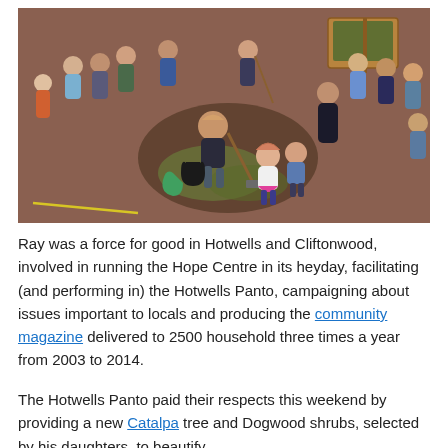[Figure (photo): Aerial/overhead view of a group of adults and children gathered around a newly planted tree or garden area on a reddish gravel surface. A person is digging with a spade, two children stand nearby, and various adults watch from around the perimeter. Wooden planter boxes are visible in the background.]
Ray was a force for good in Hotwells and Cliftonwood, involved in running the Hope Centre in its heyday, facilitating (and performing in) the Hotwells Panto, campaigning about issues important to locals and producing the community magazine delivered to 2500 household three times a year from 2003 to 2014.
The Hotwells Panto paid their respects this weekend by providing a new Catalpa tree and Dogwood shrubs, selected by his daughters, to beautify